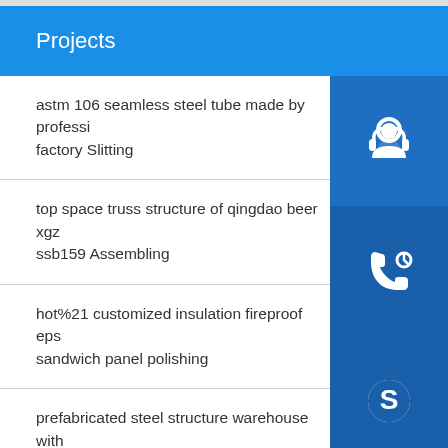Projects
astm 106 seamless steel tube made by professional factory Slitting
top space truss structure of qingdao beer xgz ssb159 Assembling
hot%21 customized insulation fireproof eps sandwich panel polishing
prefabricated steel structure warehouse with overhead crane Decoiling
efabricated steel structure building and peb steel Painting